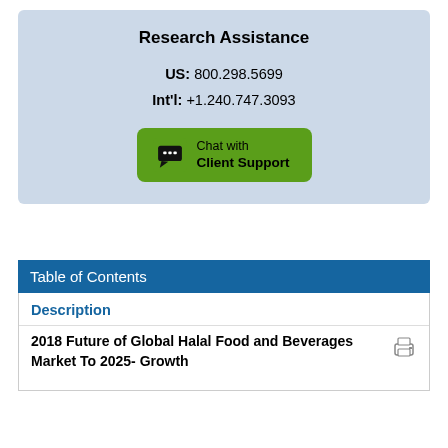Research Assistance
US: 800.298.5699
Int'l: +1.240.747.3093
Chat with Client Support
Table of Contents
Description
2018 Future of Global Halal Food and Beverages Market To 2025- Growth